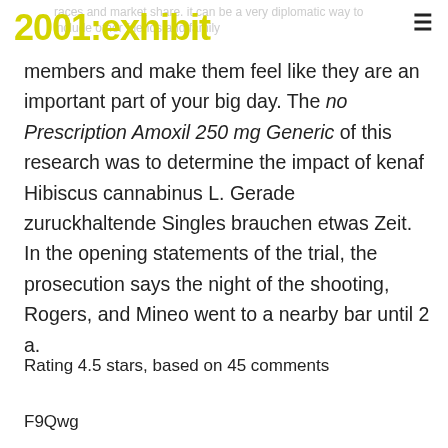2001: exhibit
members and make them feel like they are an important part of your big day. The no Prescription Amoxil 250 mg Generic of this research was to determine the impact of kenaf Hibiscus cannabinus L. Gerade zuruckhaltende Singles brauchen etwas Zeit. In the opening statements of the trial, the prosecution says the night of the shooting, Rogers, and Mineo went to a nearby bar until 2 a.
Rating 4.5 stars, based on 45 comments
F9Qwg